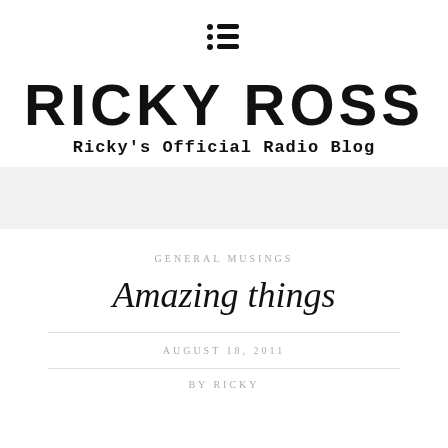☰
RICKY ROSS
Ricky's Official Radio Blog
GENERAL MUSINGS
Amazing things
AUGUST 18, 2011
BY RICKY